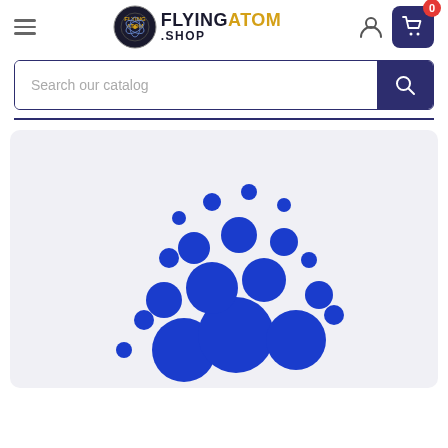[Figure (logo): FlyingAtom .SHOP logo with circular emblem and text]
Search our catalog
[Figure (illustration): Cardano (ADA) cryptocurrency logo made of blue circles of varying sizes on a light gray background]